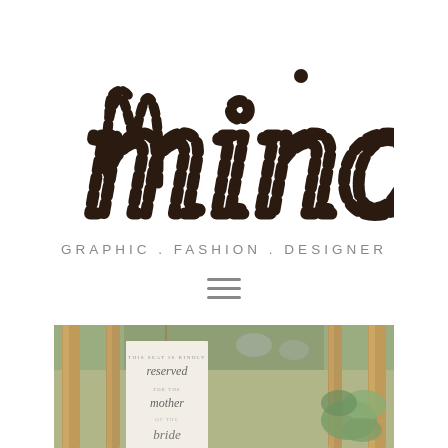[Figure (logo): Minori handwritten/script logo in dark brown/black with dotted letter outlines forming the word 'minori']
GRAPHIC . FASHION . DESIGNER
[Figure (other): Hamburger menu icon - three horizontal lines]
[Figure (photo): Wedding ceremony outdoor setting with wooden ladder/easel chair backs and a hanging sign reading 'this seat is kindly reserved for the mother of the bride' in elegant script, with eucalyptus greenery and stone wall in background]